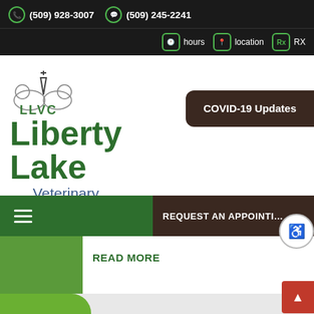(509) 928-3007   (509) 245-2241   hours   location   RX
[Figure (logo): LLVC Liberty Lake Veterinary Center logo with animal silhouettes and stylized V]
Liberty Lake
Veterinary Center
COVID-19 Updates
REQUEST AN APPOINTMENT
READ MORE